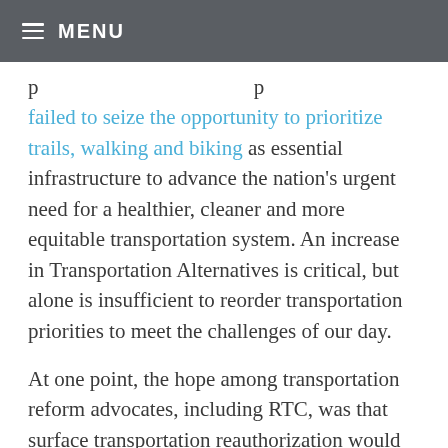MENU
failed to seize the opportunity to prioritize trails, walking and biking as essential infrastructure to advance the nation's urgent need for a healthier, cleaner and more equitable transportation system. An increase in Transportation Alternatives is critical, but alone is insufficient to reorder transportation priorities to meet the challenges of our day.
At one point, the hope among transportation reform advocates, including RTC, was that surface transportation reauthorization would proceed first with a full conference negotiation to reconcile the strongest aspects of the bills from each chamber, then to be followed by a bill under reconciliation